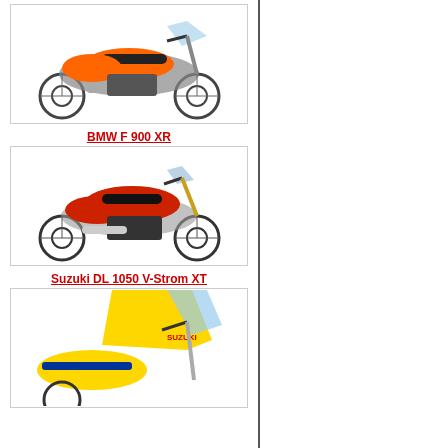[Figure (photo): Orange and black adventure motorcycle (KTM style) shown in profile view against white background]
BMW F 900 XR
[Figure (photo): Red and black BMW F 900 XR sport-touring motorcycle shown in profile view against white background]
Suzuki DL 1050 V-Strom XT
[Figure (photo): Yellow Suzuki DL 1050 V-Strom XT adventure motorcycle partially visible, cropped at bottom of page]